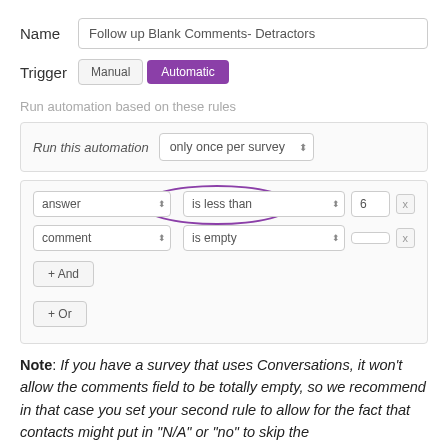Name   Follow up Blank Comments- Detractors
Trigger   Manual   Automatic
Run automation based on these rules
Run this automation   only once per survey
answer ⬍  is less than ⬍  6  x
comment ⬍  is empty ⬍     x
+ And
+ Or
Note: If you have a survey that uses Conversations, it won't allow the comments field to be totally empty, so we recommend in that case you set your second rule to allow for the fact that contacts might put in "N/A" or "no" to skip the